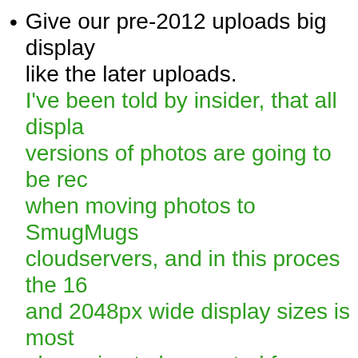Give our pre-2012 uploads big display like the later uploads. I've been told by insider, that all display versions of photos are going to be recreated when moving photos to SmugMugs cloudservers, and in this proces the 1600 and 2048px wide display sizes is most likely also going to be created for uploads predating 2012.
Exploration
Albums displayed on photostream page (I know, I'm repeating myself a lot here).